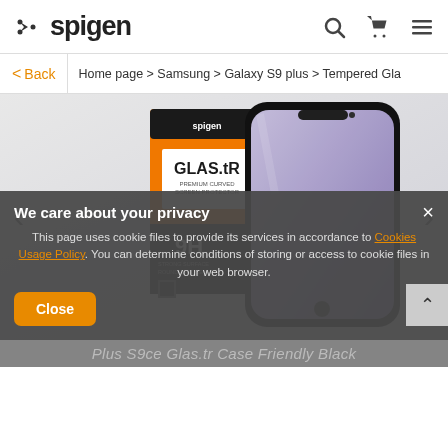Spigen — navigation header with search, cart, and menu icons
< Back | Home page > Samsung > Galaxy S9 plus > Tempered Gla
[Figure (photo): Spigen GLAS.tR product packaging (orange box) alongside a Samsung Galaxy S9 Plus with tempered glass screen protector applied, showing 9H hardness rating]
We care about your privacy
This page uses cookie files to provide its services in accordance to Cookies Usage Policy. You can determine conditions of storing or access to cookie files in your web browser.
Close
Plus S9ce Glas.tr Case Friendly Black